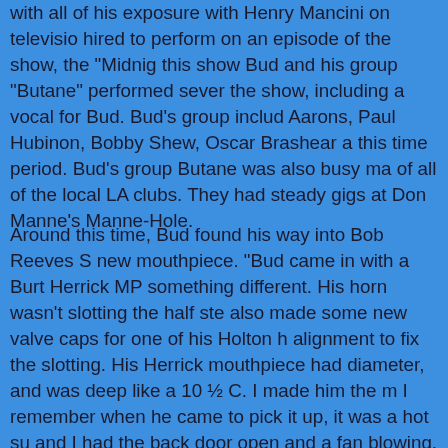with all of his exposure with Henry Mancini on television, hired to perform on an episode of the show, the "Midnight" this show Bud and his group "Butane" performed several for the show, including a vocal for Bud. Bud's group includes Aarons, Paul Hubinon, Bobby Shew, Oscar Brashear and others this time period. Bud's group Butane was also busy making of all of the local LA clubs. They had steady gigs at Don Manne's Manne-Hole.
Around this time, Bud found his way into Bob Reeves S new mouthpiece. "Bud came in with a Burt Herrick MP something different. His horn wasn't slotting the half ste also made some new valve caps for one of his Holton h alignment to fix the slotting. His Herrick mouthpiece had diameter, and was deep like a 10 ½ C. I made him the m I remember when he came to pick it up, it was a hot su and I had the back door open and a fan blowing, Bud c the mouthpiece and played a big fat high C, then he sta painfully loud double C's and this old grey haired man c 'you call that music?' apparently the guy lived upstairs a up. After the adjustments, Bud loved the horn and he a Herrick mouthpiece and took the new Reeves to his rec